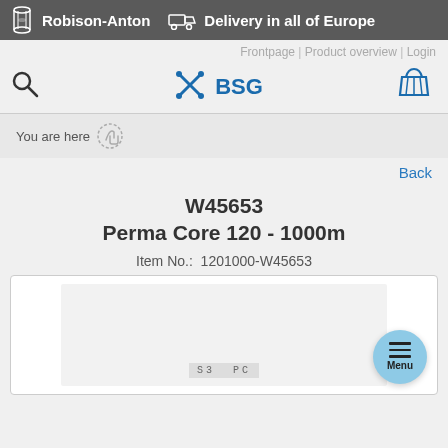Robison-Anton | Delivery in all of Europe
Frontpage | Product overview | Login
[Figure (logo): BSG logo with crossed tools icon and shopping basket icon]
You are here
Back
W45653
Perma Core 120 - 1000m
Item No.:  1201000-W45653
[Figure (photo): Product image of Perma Core thread spool with label showing S3 PC]